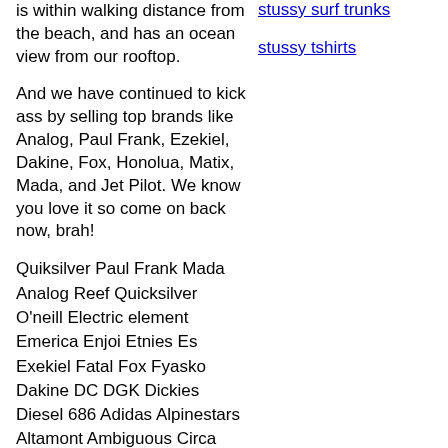is within walking distance from the beach, and has an ocean view from our rooftop.
And we have continued to kick ass by selling top brands like Analog, Paul Frank, Ezekiel, Dakine, Fox, Honolua, Matix, Mada, and Jet Pilot. We know you love it so come on back now, brah!
Quiksilver Paul Frank Mada
Analog Reef Quicksilver
O'neill Electric element
Emerica Enjoi Etnies Es
Exekiel Fatal Fox Fyasko
Dakine DC DGK Dickies
Diesel 686 Adidas Alpinestars
Altamont Ambiguous Circa
Analog Body Glove Burton
C1rca Grenade Honolua
Hurley Hurley Girls
Independent Infamous insight
Jet Pilot Kr3w Levis Mada
LRG Matix Metal Molish
stussy surf trunks
stussy tshirts